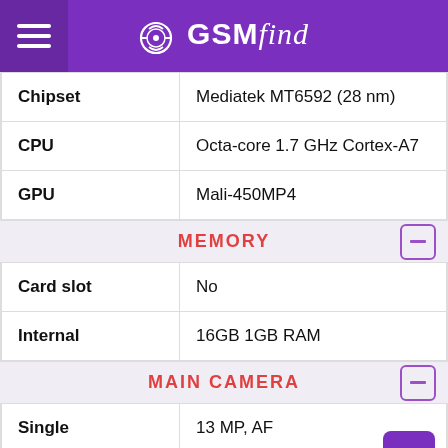GSMfind
| Chipset | CPU | GPU |
| --- | --- | --- |
| Chipset | Mediatek MT6592 (28 nm) |
| CPU | Octa-core 1.7 GHz Cortex-A7 |
| GPU | Mali-450MP4 |
MEMORY
| Card slot | Internal |
| --- | --- |
| Card slot | No |
| Internal | 16GB 1GB RAM |
MAIN CAMERA
| Single | Features | Video |
| --- | --- | --- |
| Single | 13 MP, AF |
| Features | LED flash |
| Video | 1080p@30fps |
SELFIE CAMERA